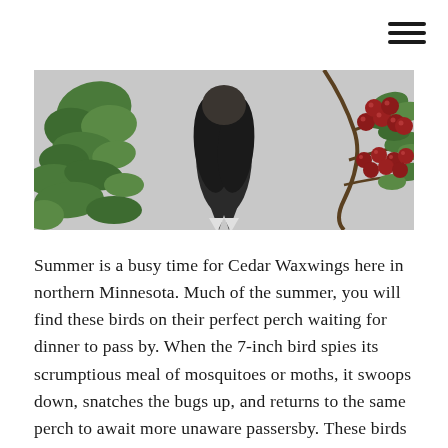[Figure (photo): Partial banner photo of a Cedar Waxwing bird perched, with green leaves on the left and red berries on a branch to the right, against a light grey sky background.]
Summer is a busy time for Cedar Waxwings here in northern Minnesota. Much of the summer, you will find these birds on their perfect perch waiting for dinner to pass by. When the 7-inch bird spies its scrumptious meal of mosquitoes or moths, it swoops down, snatches the bugs up, and returns to the same perch to await more unaware passersby. These birds typically eat the abundant bugs of summer, but come mid-July, tasty berries lure